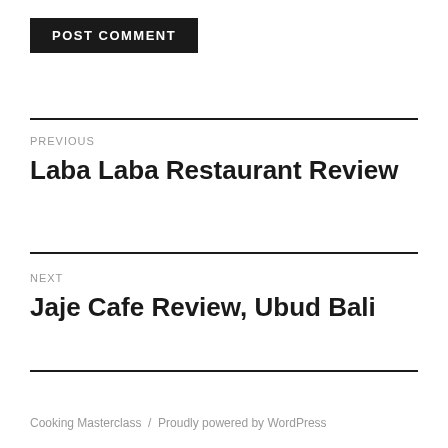[Figure (other): POST COMMENT button with black background and white bold uppercase text]
PREVIOUS
Laba Laba Restaurant Review
NEXT
Jaje Cafe Review, Ubud Bali
Cooking Masterclass / Proudly powered by WordPress